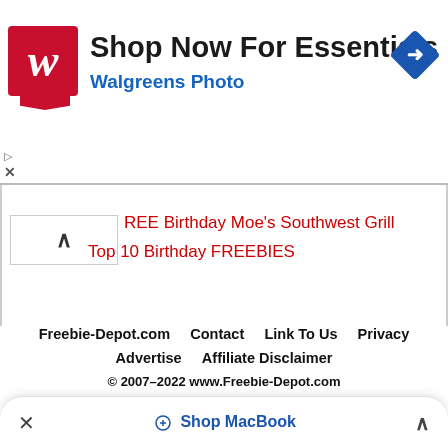[Figure (logo): Walgreens ad banner with red W logo, text 'Shop Now For Essentials' and 'Walgreens Photo', and a blue navigation diamond icon on the right]
REE Birthday Moe's Southwest Grill
Top 10 Birthday FREEBIES
Freebie-Depot.com   Contact   Link To Us   Privacy
Advertise   Affiliate Disclaimer
© 2007–2022 www.Freebie-Depot.com
© 2007–2020 www.Freebie-Depot.com
× Shop MacBook ^